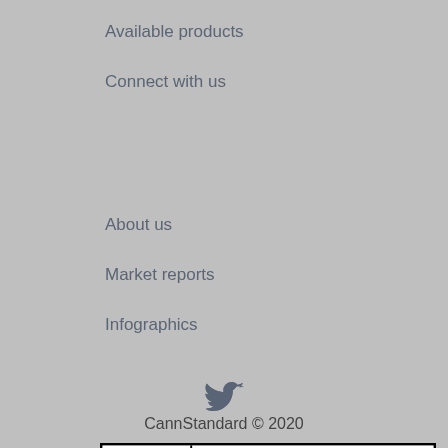Available products
Connect with us
About us
Market reports
Infographics
[Figure (logo): CannStandard - Cannabis Research Network logo with Erlenmeyer flask icon on the left and bold text on white background with black border]
[Figure (illustration): Twitter bird icon in dark grey]
CannStandard © 2020